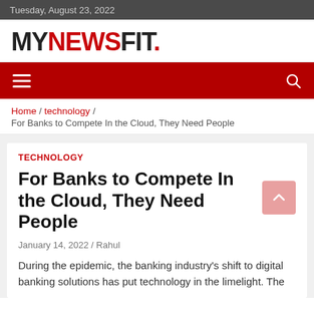Tuesday, August 23, 2022
MYNEWSFIT.
[Figure (other): Navigation bar with hamburger menu icon and search icon on red background]
Home / technology / For Banks to Compete In the Cloud, They Need People
TECHNOLOGY
For Banks to Compete In the Cloud, They Need People
January 14, 2022 / Rahul
During the epidemic, the banking industry's shift to digital banking solutions has put technology in the limelight. The